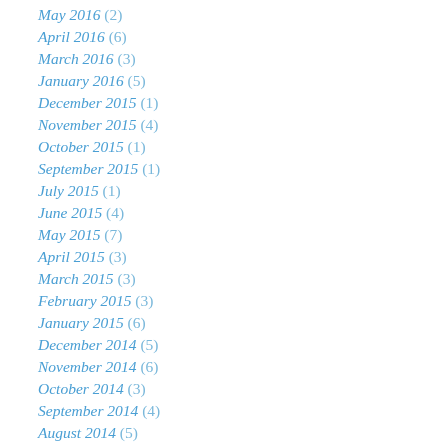May 2016 (2)
April 2016 (6)
March 2016 (3)
January 2016 (5)
December 2015 (1)
November 2015 (4)
October 2015 (1)
September 2015 (1)
July 2015 (1)
June 2015 (4)
May 2015 (7)
April 2015 (3)
March 2015 (3)
February 2015 (3)
January 2015 (6)
December 2014 (5)
November 2014 (6)
October 2014 (3)
September 2014 (4)
August 2014 (5)